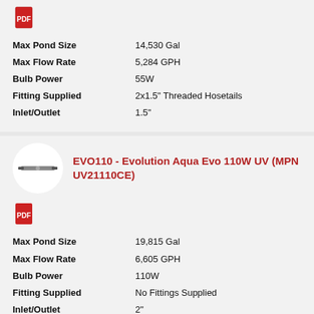| Spec | Value |
| --- | --- |
| Max Pond Size | 14,530 Gal |
| Max Flow Rate | 5,284 GPH |
| Bulb Power | 55W |
| Fitting Supplied | 2x1.5" Threaded Hosetails |
| Inlet/Outlet | 1.5" |
EVO110 - Evolution Aqua Evo 110W UV (MPN UV21110CE)
| Spec | Value |
| --- | --- |
| Max Pond Size | 19,815 Gal |
| Max Flow Rate | 6,605 GPH |
| Bulb Power | 110W |
| Fitting Supplied | No Fittings Supplied |
| Inlet/Outlet | 2" |
Evolution Aqua Evo UV Replacement Parts